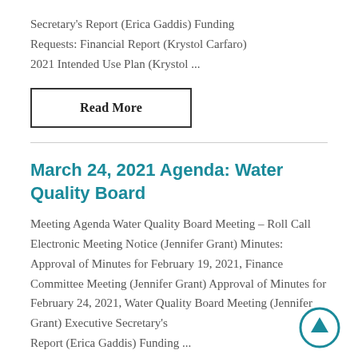Secretary's Report (Erica Gaddis) Funding Requests: Financial Report (Krystol Carfaro) 2021 Intended Use Plan (Krystol ...
Read More
March 24, 2021 Agenda: Water Quality Board
Meeting Agenda Water Quality Board Meeting – Roll Call Electronic Meeting Notice (Jennifer Grant) Minutes: Approval of Minutes for February 19, 2021, Finance Committee Meeting (Jennifer Grant) Approval of Minutes for February 24, 2021, Water Quality Board Meeting (Jennifer Grant) Executive Secretary's Report (Erica Gaddis) Funding ...